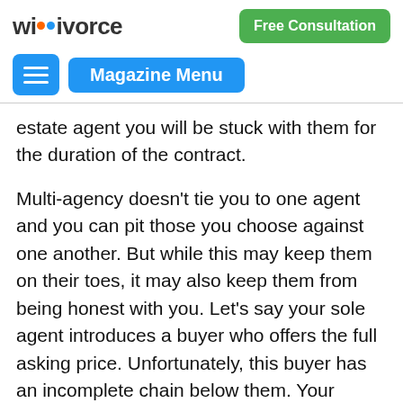wikivorce | Free Consultation
Magazine Menu
estate agent you will be stuck with them for the duration of the contract.
Multi-agency doesn't tie you to one agent and you can pit those you choose against one another. But while this may keep them on their toes, it may also keep them from being honest with you. Let's say your sole agent introduces a buyer who offers the full asking price. Unfortunately, this buyer has an incomplete chain below them. Your agent advises you